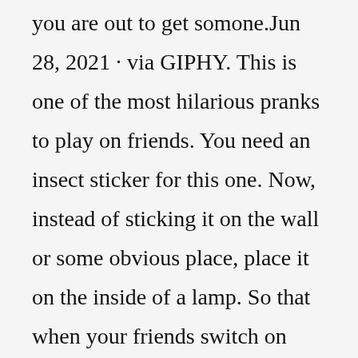you are out to get somone.Jun 28, 2021 · via GIPHY. This is one of the most hilarious pranks to play on friends. You need an insect sticker for this one. Now, instead of sticking it on the wall or some obvious place, place it on the inside of a lamp. So that when your friends switch on their lamp, they will just see a shadow of the insect on it. Feb 22, 2020 · The last prank on our top 4 list is SendRandomFacts.com. This site is a bit more harmless in the way you can